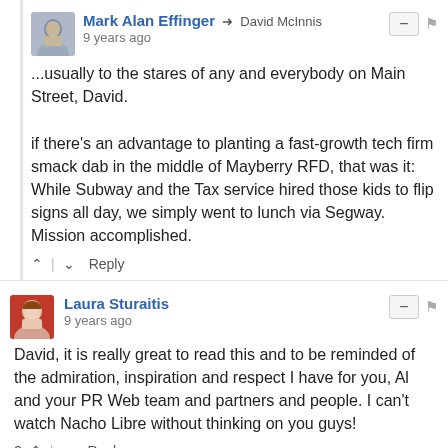Mark Alan Effinger → David McInnis
9 years ago
...usually to the stares of any and everybody on Main Street, David.

if there's an advantage to planting a fast-growth tech firm smack dab in the middle of Mayberry RFD, that was it: While Subway and the Tax service hired those kids to flip signs all day, we simply went to lunch via Segway. Mission accomplished.
↑ | ↓  Reply
Laura Sturaitis
9 years ago
David, it is really great to read this and to be reminded of the admiration, inspiration and respect I have for you, Al and your PR Web team and partners and people. I can't watch Nacho Libre without thinking on you guys!
2 ↑ | ↓  Reply
David McInnis → Laura Sturaitis